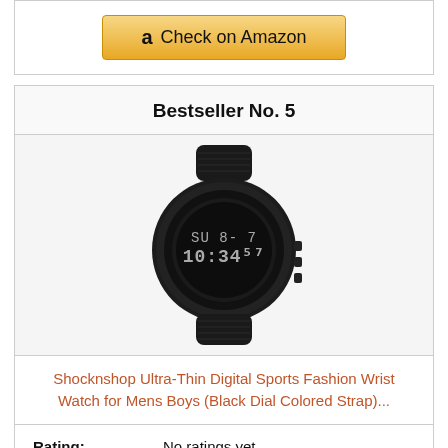[Figure (other): Check on Amazon button with Amazon 'a' logo]
Bestseller No. 5
[Figure (photo): Black digital sports watch (Shocknshop) with rubber strap, round face displaying SU 8-7 10:34:57]
Shocknshop Ultra-Thin Digital Sports Fashion Wrist Watch for Mens Boys (Black Dial Colored Strap)...
Rating: No ratings yet
[Figure (other): Check on Amazon button (partially visible at bottom)]